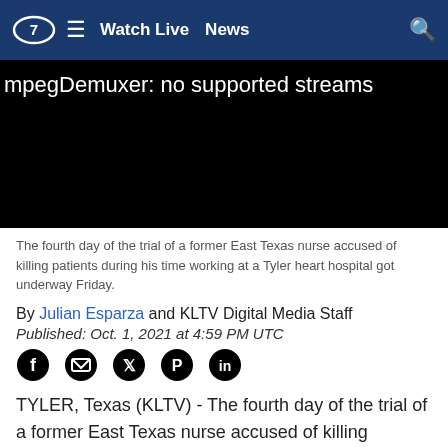Watch Live  News
[Figure (screenshot): Black video player showing error message: mpegDemuxer: no supported streams]
The fourth day of the trial of a former East Texas nurse accused of killing patients during his time working at a Tyler heart hospital got underway Friday.
By Julian Esparza and KLTV Digital Media Staff
Published: Oct. 1, 2021 at 4:59 PM UTC
[Figure (illustration): Social media share icons: Facebook, Email, Twitter, Pinterest, LinkedIn]
TYLER, Texas (KLTV) - The fourth day of the trial of a former East Texas nurse accused of killing patients during his time working at a Tyler heart hospital got underway Friday.